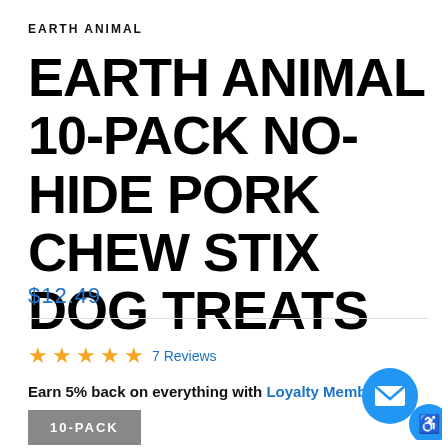EARTH ANIMAL
EARTH ANIMAL 10-PACK NO-HIDE PORK CHEW STIX DOG TREATS
$12.49
★★★★★ 7 Reviews
Earn 5% back on everything with Loyalty Membership.
10-PACK
[Figure (illustration): Blue circle icons for email/chat and accessibility in bottom right corner]